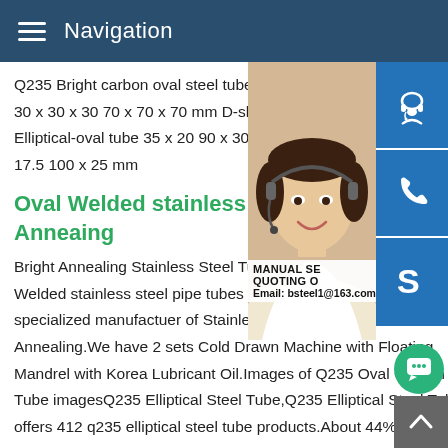Navigation
Q235 Bright carbon oval steel tube#216; 3 30 x 30 x 30 70 x 70 x 70 mm D-shaped tu Elliptical-oval tube 35 x 20 90 x 30 mm Fla 17.5 100 x 25 mm
Oval Welded stainless steel p Anneaing
Bright Annealing Stainless Steel Tube - Ch Welded stainless steel pipe tubes Bright A specialized manufactuer of Stainless Stee Annealing.We have 2 sets Cold Drawn Machine with Floating Mandrel with Korea Lubricant Oil.Images of Q235 Oval Carbon Tube imagesQ235 Elliptical Steel Tube,Q235 Elliptical Steel Tube offers 412 q235 elliptical steel tube products.About 44% of the are steel pipes,1% are stainless steel pipes.A wide variety of elliptical steel tube options are available to you,such as 10#,a3
[Figure (photo): Customer service representative woman with headset, smiling]
[Figure (infographic): Three blue icon buttons: headset/customer service icon, phone icon, Skype icon. Manual service and quoting overlay with email bsteel1@163.com]